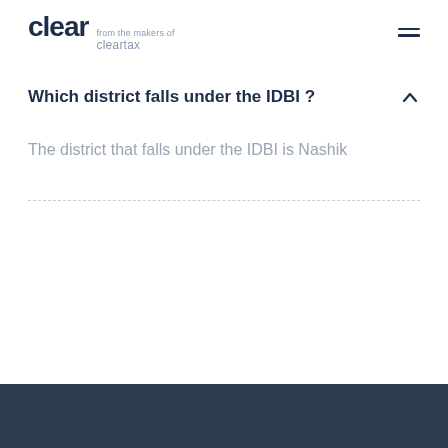clear from the makers of cleartax
Which district falls under the IDBI ?
The district that falls under the IDBI is Nashik